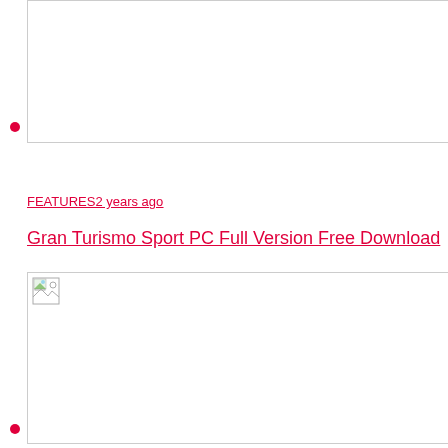[Figure (screenshot): Partially visible image box at top of page with grey border, content cut off]
bullet point (red dot) at top left
FEATURES2 years ago
Gran Turismo Sport PC Full Version Free Download
[Figure (photo): Large white image box with broken image icon in top-left corner]
bullet point (red dot) at bottom left